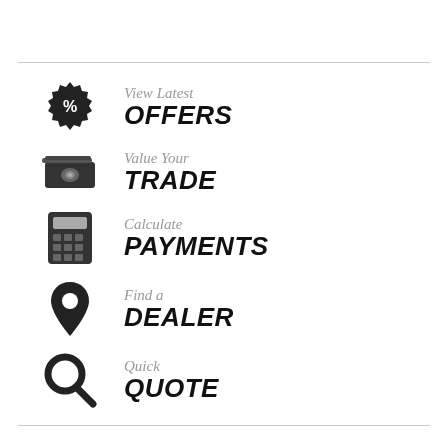View Latest OFFERS
Value Your TRADE
Calculate PAYMENTS
Find a DEALER
Quick QUOTE